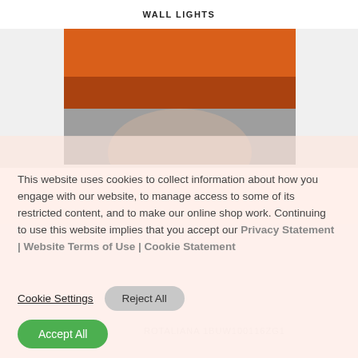WALL LIGHTS
[Figure (photo): Product photo showing a wall light with orange/red diffuser glow on upper portion and white/gray fixture on lower portion]
This website uses cookies to collect information about how you engage with our website, to manage access to some of its restricted content, and to make our online shop work. Continuing to use this website implies that you accept our Privacy Statement | Website Terms of Use | Cookie Statement
Cookie Settings  Reject All
Accept All
ROTALIANA 1BUW100116ZG1